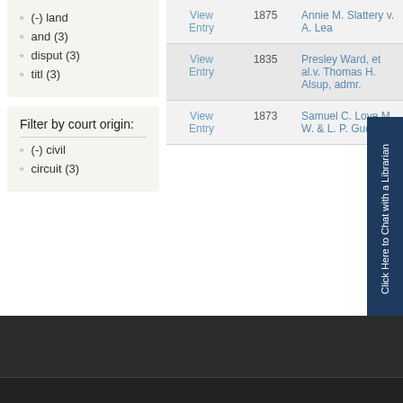(-) land
and (3)
disput (3)
titl (3)
Filter by court origin:
(-) civil
circuit (3)
|  | Year | Case Name |
| --- | --- | --- |
| View Entry | 1875 | Annie M. Slattery v. A. Lea |
| View Entry | 1835 | Presley Ward, et al.v. Thomas H. Alsup, admr. |
| View Entry | 1873 | Samuel C. Love M. W. & L. P. Gudger |